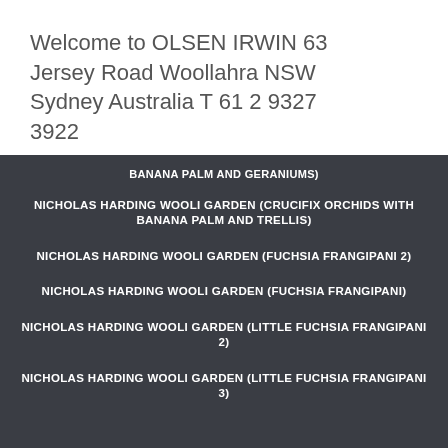Welcome to OLSEN IRWIN 63 Jersey Road Woollahra NSW Sydney Australia T 61 2 9327 3922
BANANA PALM AND GERANIUMS)
NICHOLAS HARDING WOOLI GARDEN (CRUCIFIX ORCHIDS WITH BANANA PALM AND TRELLIS)
NICHOLAS HARDING WOOLI GARDEN (FUCHSIA FRANGIPANI 2)
NICHOLAS HARDING WOOLI GARDEN (FUCHSIA FRANGIPANI)
NICHOLAS HARDING WOOLI GARDEN (LITTLE FUCHSIA FRANGIPANI 2)
NICHOLAS HARDING WOOLI GARDEN (LITTLE FUCHSIA FRANGIPANI 3)